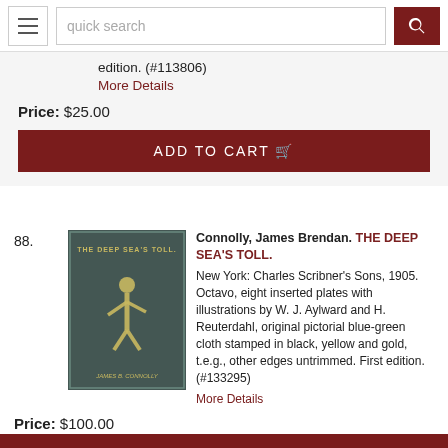quick search
edition. (#113806)
More Details
Price: $25.00
ADD TO CART
88. Connolly, James Brendan. THE DEEP SEA'S TOLL.
[Figure (photo): Book cover of 'The Deep Sea's Toll' by James B. Connolly, dark blue-green cloth with a figure illustration in yellow/gold]
New York: Charles Scribner's Sons, 1905. Octavo, eight inserted plates with illustrations by W. J. Aylward and H. Reuterdahl, original pictorial blue-green cloth stamped in black, yellow and gold, t.e.g., other edges untrimmed. First edition. (#133295)
More Details
Price: $100.00